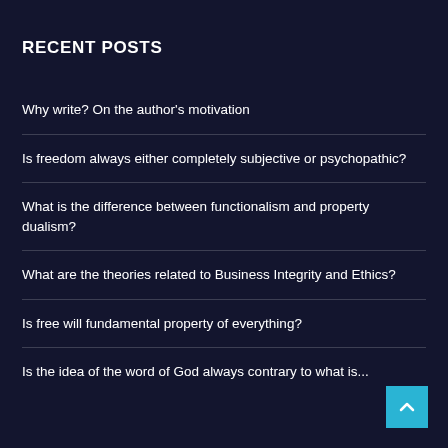RECENT POSTS
Why write? On the author's motivation
Is freedom always either completely subjective or psychopathic?
What is the difference between functionalism and property dualism?
What are the theories related to Business Integrity and Ethics?
Is free will fundamental property of everything?
Is the idea of the word of God always contrary to what is...